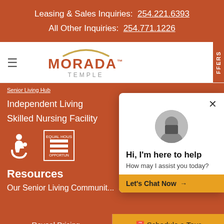Leasing & Sales Inquiries: 254.221.6393
All Other Inquiries: 254.771.1226
[Figure (logo): Morada Temple logo with orange arc and orange MORADA text and grey TEMPLE text]
Independent Living
Skilled Nursing Facility
[Figure (illustration): Wheelchair accessibility icon and Equal Housing Opportunity logo]
Resources
Our Senior Living Communit...
[Figure (screenshot): Chat popup overlay with agent photo, text: Hi, I'm here to help. How may I assist you today? Let's Chat Now arrow button]
Reveal Pricing
Schedule a Tour